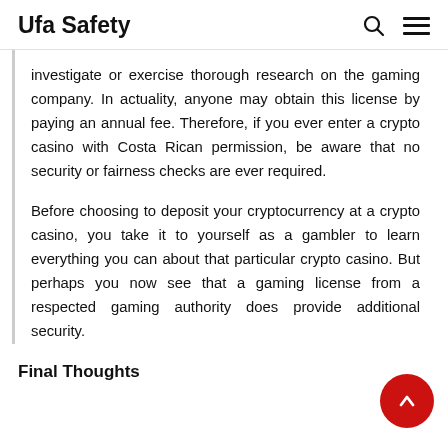Ufa Safety
investigate or exercise thorough research on the gaming company. In actuality, anyone may obtain this license by paying an annual fee. Therefore, if you ever enter a crypto casino with Costa Rican permission, be aware that no security or fairness checks are ever required.
Before choosing to deposit your cryptocurrency at a crypto casino, you take it to yourself as a gambler to learn everything you can about that particular crypto casino. But perhaps you now see that a gaming license from a respected gaming authority does provide additional security.
Final Thoughts